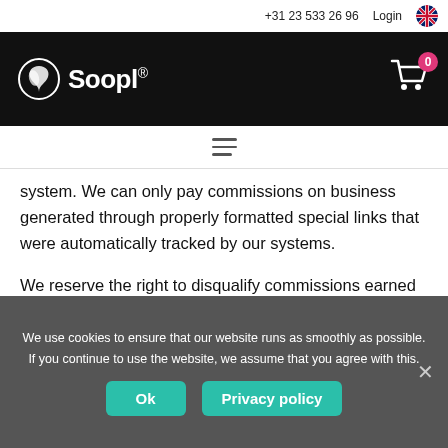+31 23 533 26 96   Login
[Figure (logo): Soopl logo with white text on black header bar, shopping cart icon with badge showing 0]
We will only pay commissions on links that are automatically system. We can only pay commissions on business generated through properly formatted special links that were automatically tracked by our systems.
We reserve the right to disqualify commissions earned through fraudulent, illegal, or overly aggressive, questionable sales or marketing methods.
We use cookies to ensure that our website runs as smoothly as possible. If you continue to use the website, we assume that you agree with this.